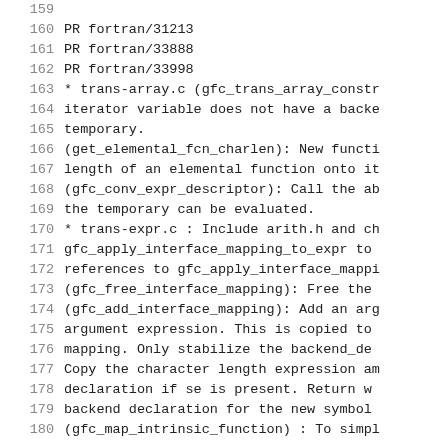159
160    PR fortran/31213
161    PR fortran/33888
162    PR fortran/33998
163    * trans-array.c (gfc_trans_array_constr
164    iterator variable does not have a backe
165    temporary.
166    (get_elemental_fcn_charlen): New functi
167    length of an elemental function onto it
168    (gfc_conv_expr_descriptor): Call the ab
169    the temporary can be evaluated.
170    * trans-expr.c : Include arith.h and ch
171    gfc_apply_interface_mapping_to_expr to
172    references to gfc_apply_interface_mappi
173    (gfc_free_interface_mapping): Free the
174    (gfc_add_interface_mapping): Add an arg
175    argument expression. This is copied to
176    mapping.  Only stabilize the backend_de
177    Copy the character length expression am
178    declaration if se is present.  Return w
179    backend declaration for the new symbol
180    (gfc_map_intrinsic_function) : To simpl